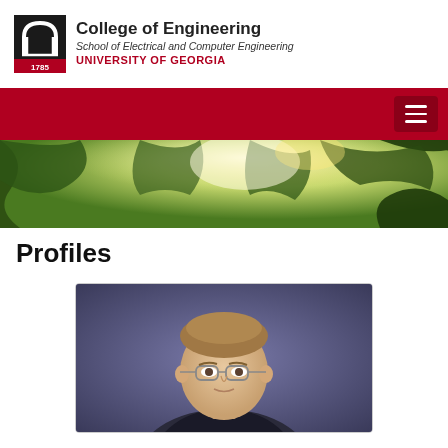College of Engineering
School of Electrical and Computer Engineering
UNIVERSITY OF GEORGIA
[Figure (photo): Tree canopy hero banner photo — looking up through green leafy trees with sunlight filtering through]
Profiles
[Figure (photo): Professional headshot portrait of a man with glasses, light brown hair, wearing a suit, in front of a blurred background]